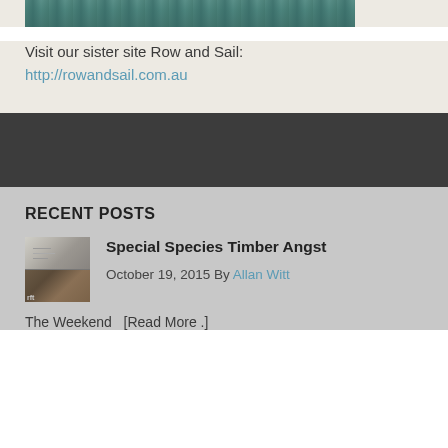[Figure (photo): Partial view of a boat or vessel on water with teal/green coloring — cropped image strip at top of page]
Visit our sister site Row and Sail:
http://rowandsail.com.au
RECENT POSTS
[Figure (photo): Thumbnail image split in two halves: top half shows a white document/paper background with faint lines, bottom half shows dark brown wood grain texture with 'rft' text label]
Special Species Timber Angst
October 19, 2015 By Allan Witt
The Weekend   [Read More .]